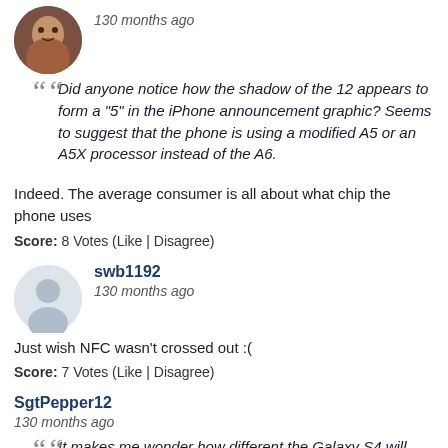130 months ago
Did anyone notice how the shadow of the 12 appears to form a "5" in the iPhone announcement graphic? Seems to suggest that the phone is using a modified A5 or an A5X processor instead of the A6.
Indeed. The average consumer is all about what chip the phone uses
Score: 8 Votes (Like | Disagree)
swb1192
130 months ago
Just wish NFC wasn't crossed out :(
Score: 7 Votes (Like | Disagree)
SgtPepper12
130 months ago
It makes me wonder how different the Galaxy S4 will look from the S3. It will probably have the same style. Won't people complain then?